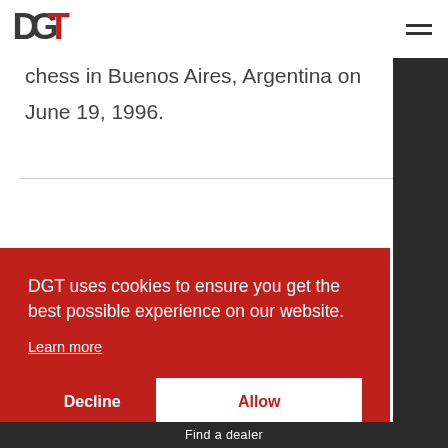[Figure (logo): DGT logo in dark gray and red]
chess in Buenos Aires, Argentina on June 19, 1996.
DGT uses cookies to ensure you get the best possible experience on our website.
Learn more
Decline
Allow
Find a dealer